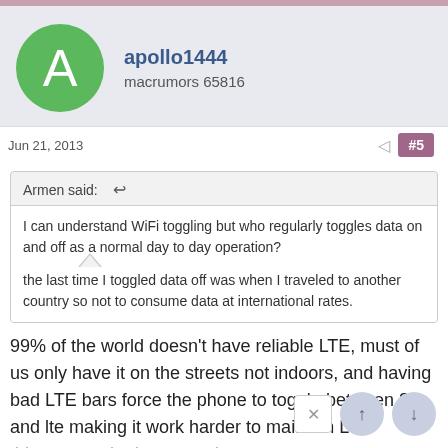apollo1444 macrumors 65816
Jun 21, 2013   #5
Armen said: ↩
I can understand WiFi toggling but who regularly toggles data on and off as a normal day to day operation?

the last time I toggled data off was when I traveled to another country so not to consume data at international rates.
99% of the world doesn't have reliable LTE, must of us only have it on the streets not indoors, and having bad LTE bars force the phone to toggle between 3g and lte making it work harder to maintain LTE this causes the battery to be crap.